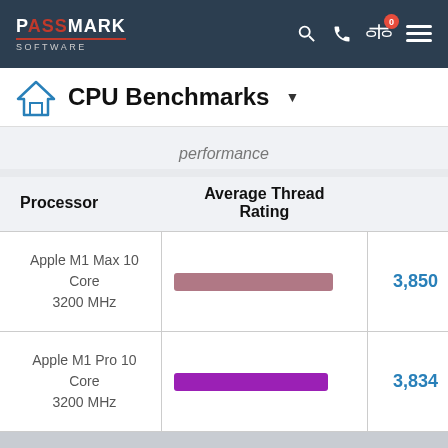PassMark Software
CPU Benchmarks
performance
| Processor | Average Thread Rating |  |
| --- | --- | --- |
| Apple M1 Max 10 Core 3200 MHz | [bar] | 3,850 |
| Apple M1 Pro 10 Core 3200 MHz | [bar] | 3,834 |